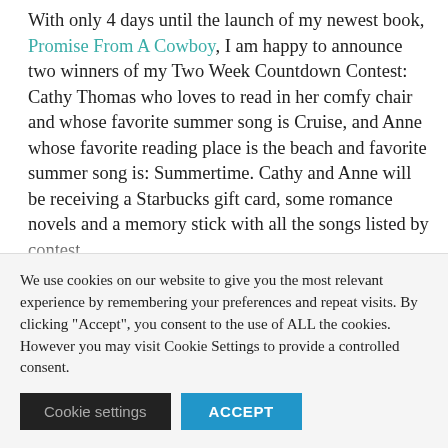With only 4 days until the launch of my newest book, Promise From A Cowboy, I am happy to announce two winners of my Two Week Countdown Contest: Cathy Thomas who loves to read in her comfy chair and whose favorite summer song is Cruise, and Anne whose favorite reading place is the beach and favorite summer song is: Summertime. Cathy and Anne will be receiving a Starbucks gift card, some romance novels and a memory stick with all the songs listed by contest
We use cookies on our website to give you the most relevant experience by remembering your preferences and repeat visits. By clicking "Accept", you consent to the use of ALL the cookies. However you may visit Cookie Settings to provide a controlled consent.